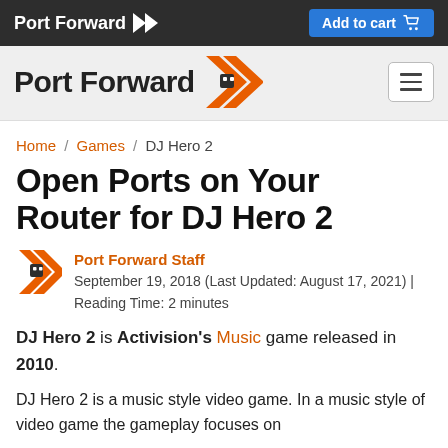Port Forward >> | Add to cart
[Figure (logo): Port Forward logo with orange chevron arrow and hamburger menu button]
Home / Games / DJ Hero 2
Open Ports on Your Router for DJ Hero 2
Port Forward Staff
September 19, 2018 (Last Updated: August 17, 2021) | Reading Time: 2 minutes
DJ Hero 2 is Activision's Music game released in 2010.
DJ Hero 2 is a music style video game. In a music style of video game the gameplay focuses on